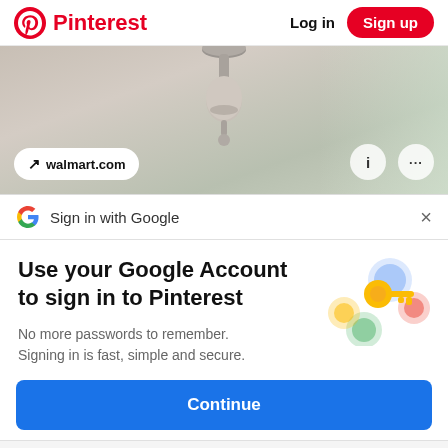Pinterest  Log in  Sign up
[Figure (screenshot): Pinterest pin image showing a hanging lamp/chandelier from below, with a blurred interior background. Overlaid source pill reads 'walmart.com' with an arrow icon. Two circular icon buttons (i and ...) visible at bottom right.]
Sign in with Google
Use your Google Account to sign in to Pinterest
No more passwords to remember.
Signing in is easy, simple and secure.
[Figure (illustration): Google Sign-in key illustration with colorful circles and a golden key]
Continue